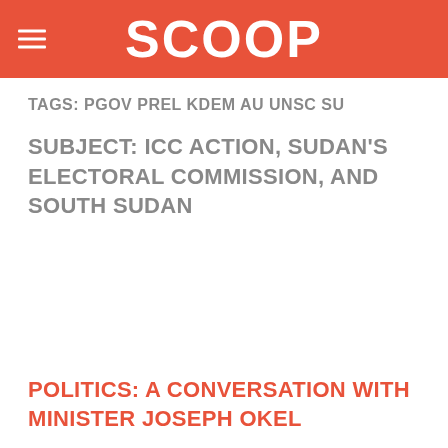SCOOP
TAGS: PGOV PREL KDEM AU UNSC SU
SUBJECT: ICC ACTION, SUDAN'S ELECTORAL COMMISSION, AND SOUTH SUDAN
POLITICS: A CONVERSATION WITH MINISTER JOSEPH OKEL